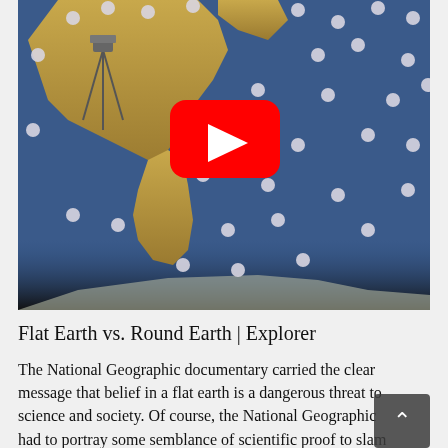[Figure (screenshot): YouTube video thumbnail showing a flat map with white ball markers scattered across it and a YouTube play button overlay. The map shows the Americas on a blue ocean background. Title: Flat Earth vs. Round Earth | Explorer]
Flat Earth vs. Round Earth | Explorer
The National Geographic documentary carried the clear message that belief in a flat earth is a dangerous threat to science and society. Of course, the National Geographic had to portray some semblance of scientific proof to slam the